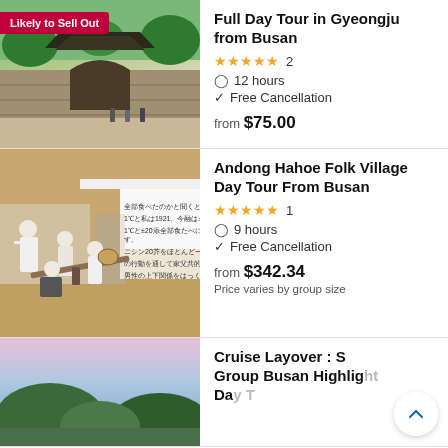[Figure (photo): Historic Korean temple/palace stone bridge and building with visitors]
Full Day Tour in Gyeongju from Busan
★★★★★ 2
🕐 12 hours
✓ Free Cancellation
from $75.00
[Figure (photo): Korean folk performers in traditional white clothes with drum instruments at a village]
Andong Hahoe Folk Village Day Tour From Busan
★★★★★ 1
🕐 9 hours
✓ Free Cancellation
from $342.34
Price varies by group size
[Figure (photo): Scenic coastal view with pink sky and green trees]
Cruise Layover : S Group Busan Highlight Day Tour